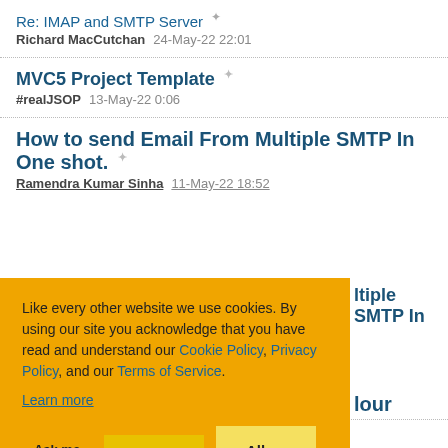Re: IMAP and SMTP Server — Richard MacCutchan 24-May-22 22:01
MVC5 Project Template — #realJSOP 13-May-22 0:06
How to send Email From Multiple SMTP In One shot. — Ramendra Kumar Sinha 11-May-22 18:52
[Figure (other): Cookie consent banner with orange background. Text: 'Like every other website we use cookies. By using our site you acknowledge that you have read and understand our Cookie Policy, Privacy Policy, and our Terms of Service. Learn more'. Buttons: 'Ask me later', 'Decline', 'Allow cookies'.]
...ltiple SMTP In (partial, behind banner)
...lour (partial, behind banner)
Re: Ext... (partial, bottom of page)